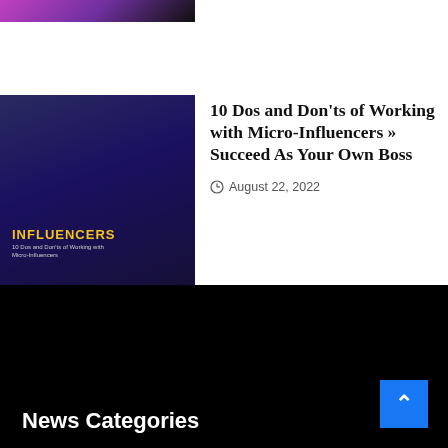[Figure (photo): Cropped top portion of an image with purple/dark tones]
[Figure (photo): Article thumbnail showing a man with text overlay reading INFLUENCERS on dark blue background]
10 Dos and Don'ts of Working with Micro-Influencers » Succeed As Your Own Boss
August 22, 2022
[Figure (photo): Light grey placeholder thumbnail for article 2]
Car blast kills daughter of Russian known as ‘Putin’s brain
August 21, 2022
News Categories